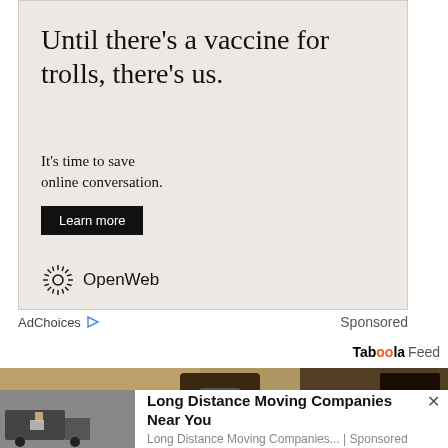[Figure (illustration): Advertisement banner with light beige background. Large headline text reads 'Until there's a vaccine for trolls, there's us.' followed by subtext 'It's time to save online conversation.' and a 'Learn more' button. OpenWeb logo at the bottom.]
AdChoices ▷   Sponsored
Taboola Feed
[Figure (photo): Photo of a vintage street lamp or light fixture mounted on a rough textured stone wall. Brown/tan tones.]
[Figure (photo): Photo of movers loading boxes into a moving truck.]
Long Distance Moving Companies Near You
Long Distance Moving Companies... | Sponsored